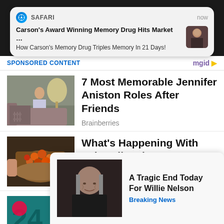[Figure (screenshot): iOS Safari push notification popup: 'Carson's Award Winning Memory Drug Hits Market ...' / 'How Carson's Memory Drug Triples Memory In 21 Days!']
SPONSORED CONTENT
[Figure (logo): mgid logo]
[Figure (photo): Woman sitting with a dog on a couch]
7 Most Memorable Jennifer Aniston Roles After Friends
Brainberries
[Figure (photo): Basket of palm oil fruits]
What's Happening With Palm Oil Today
Herbeauty
[Figure (photo): Willie Nelson portrait]
A Tragic End Today For Willie Nelson
Breaking News